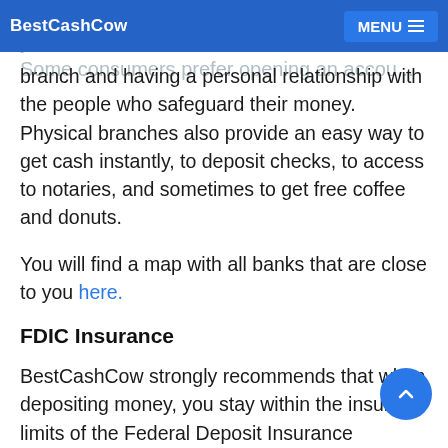BestCashCow | MENU
and usage dramatically over the past fifteen years. Some consumers prefer opening an account at a branch and having a personal relationship with the people who safeguard their money. Physical branches also provide an easy way to get cash instantly, to deposit checks, to access to notaries, and sometimes to get free coffee and donuts.
You will find a map with all banks that are close to you here.
FDIC Insurance
BestCashCow strongly recommends that when depositing money, you stay within the insured limits of the Federal Deposit Insurance Corporation (“FDIC”). You should not deposit over $250,000 at a single bank across all products (savings or share certificates, certificates of deposit or time deposits, etc.) unless